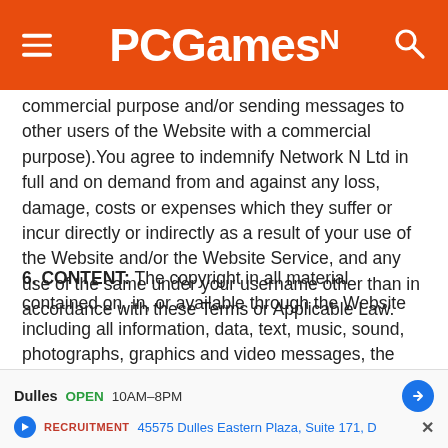PCGamesN
commercial purpose and/or sending messages to other users of the Website with a commercial purpose).You agree to indemnify Network N Ltd in full and on demand from and against any loss, damage, costs or expenses which they suffer or incur directly or indirectly as a result of your use of the Website and/or the Website Service, and any use of the same under your username other than in accordance with these Terms or Applicable Law.
6. CONTENT: The copyright in all material contained on, in, or available through the Website including all information, data, text, music, sound, photographs, graphics and video messages, the selection and arrangement thereof, and all source code, software compilations and other material ("Material") is owned by or licensed to Network N Ltd. All
[Figure (infographic): Advertisement banner showing Dulles store location, OPEN 10AM-8PM, address 45575 Dulles Eastern Plaza, Suite 171, D, with navigation icon and close button]